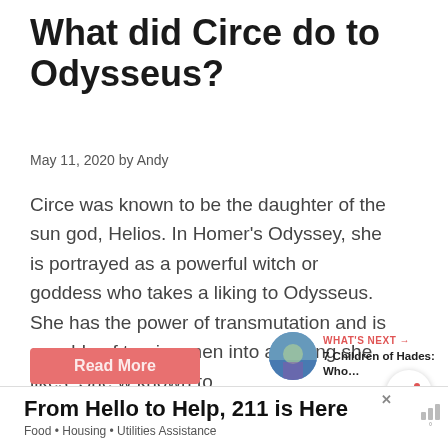What did Circe do to Odysseus?
May 11, 2020 by Andy
Circe was known to be the daughter of the sun god, Helios. In Homer’s Odyssey, she is portrayed as a powerful witch or goddess who takes a liking to Odysseus. She has the power of transmutation and is capable of turning men into anything she likes. She w known to …
Read More
[Figure (other): What's Next navigation widget showing a thumbnail image and link to '7 Children of Hades: Who...']
From Hello to Help, 211 is Here
Food • Housing • Utilities Assistance